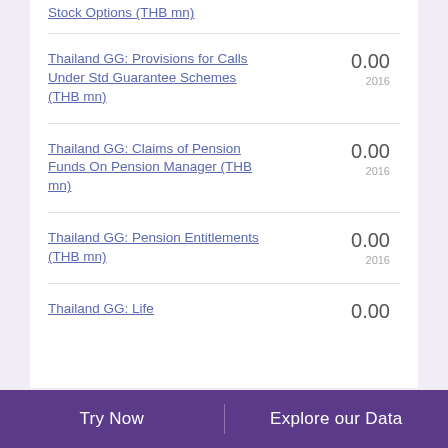Stock Options (THB mn)
Thailand GG: Provisions for Calls Under Std Guarantee Schemes (THB mn)
0.00
2016
Thailand GG: Claims of Pension Funds On Pension Manager (THB mn)
0.00
2016
Thailand GG: Pension Entitlements (THB mn)
0.00
2016
Thailand GG: Life ...
0.00
Try Now    Explore our Data